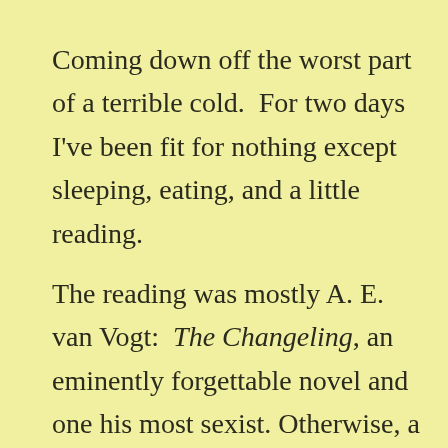Coming down off the worst part of a terrible cold.  For two days I've been fit for nothing except sleeping, eating, and a little reading.

The reading was mostly A. E. van Vogt:  The Changeling, an eminently forgettable novel and one his most sexist. Otherwise, a little of Naomi